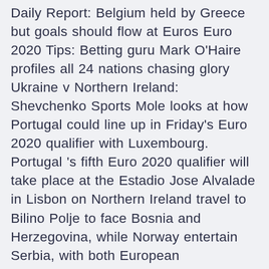Daily Report: Belgium held by Greece but goals should flow at Euros Euro 2020 Tips: Betting guru Mark O'Haire profiles all 24 nations chasing glory Ukraine v Northern Ireland: Shevchenko Sports Mole looks at how Portugal could line up in Friday's Euro 2020 qualifier with Luxembourg. Portugal 's fifth Euro 2020 qualifier will take place at the Estadio Jose Alvalade in Lisbon on Northern Ireland travel to Bilino Polje to face Bosnia and Herzegovina, while Norway entertain Serbia, with both European Championship qualifying play-off semi-finals kicking off at 7.45pm on British Army sheds an Afghan war legacy: blast-proof trucks.